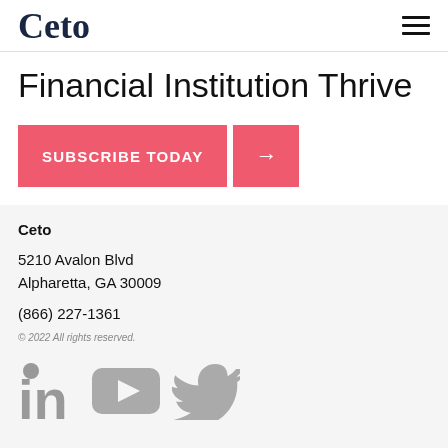Ceto
Financial Institution Thrive
SUBSCRIBE TODAY →
Ceto
5210 Avalon Blvd
Alpharetta, GA 30009
(866) 227-1361
© 2022 All rights reserved.
[Figure (logo): LinkedIn, YouTube, and Twitter social media icons in gray]